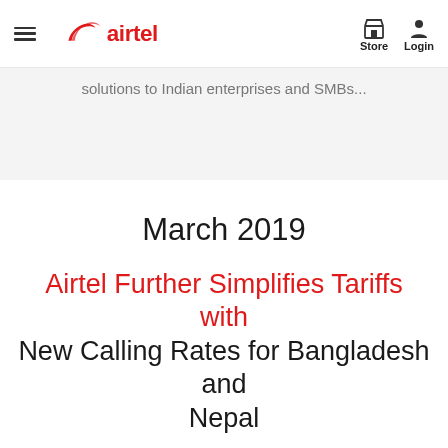airtel | Store | Login
solutions to Indian enterprises and SMBs...
March 2019
Airtel Further Simplifies Tariffs with New Calling Rates for Bangladesh and Nepal
Airtel prepaid mobile users can now make calls to Bangladesh at just Rs 2.99/min and to Nepal at Rs 7.99/min...